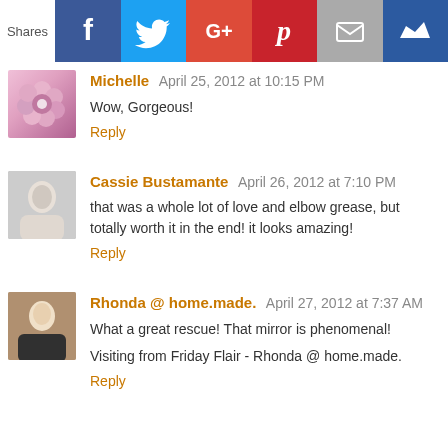[Figure (infographic): Social share bar with Facebook, Twitter, Google+, Pinterest, Email, and Crown icons]
Michelle  April 25, 2012 at 10:15 PM
Wow, Gorgeous!
Reply
Cassie Bustamante  April 26, 2012 at 7:10 PM
that was a whole lot of love and elbow grease, but totally worth it in the end! it looks amazing!
Reply
Rhonda @ home.made.  April 27, 2012 at 7:37 AM
What a great rescue! That mirror is phenomenal!
Visiting from Friday Flair - Rhonda @ home.made.
Reply